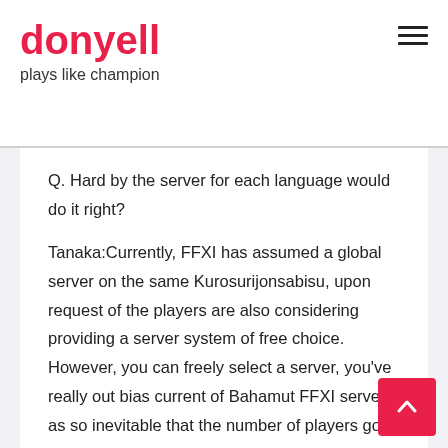donyell
plays like champion
Q. Hard by the server for each language would do it right?
Tanaka:Currently, FFXI has assumed a global server on the same Kurosurijonsabisu, upon request of the players are also considering providing a server system of free choice. However, you can freely select a server, you've really out bias current of Bahamut FFXI servers as so inevitable that the number of players go into a flat, they do not balance If I adjust the assumption that predictable.
Q. FFXI is the voice of the player has to reflect the evolution of seven years, as well as future, or intends to reflect the requests from the players?
Kawamoto said:Of course I will. Others already have FFXI